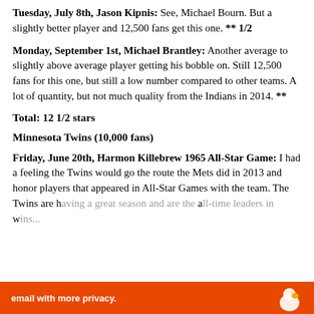Tuesday, July 8th, Jason Kipnis: See, Michael Bourn. But a slightly better player and 12,500 fans get this one. ** 1/2
Monday, September 1st, Michael Brantley: Another average to slightly above average player getting his bobble on. Still 12,500 fans for this one, but still a low number compared to other teams. A lot of quantity, but not much quality from the Indians in 2014. **
Total: 12 1/2 stars
Minnesota Twins (10,000 fans)
Friday, June 20th, Harmon Killebrew 1965 All-Star Game: I had a feeling the Twins would go the route the Mets did in 2013 and honor players that appeared in All-Star Games with the team. The Twins are h... a... w...
Privacy & Cookies: This site uses cookies. By continuing to use this website, you agree to their use. To find out more, including how to control cookies, see here: Cookie Policy
Close and accept